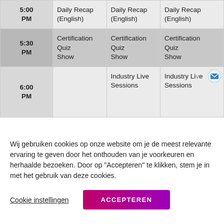| Time | Column 1 | Column 2 | Column 3 |
| --- | --- | --- | --- |
| 5:00 PM | Daily Recap (English) | Daily Recap (English) | Daily Recap (English) |
| 5:30 PM | Certification Quiz Show | Certification Quiz Show | Certification Quiz Show |
| 6:00 PM |  | Industry Live Sessions | Industry Live Sessions |
Wij gebruiken cookies op onze website om je de meest relevante ervaring te geven door het onthouden van je voorkeuren en herhaalde bezoeken. Door op "Accepteren" te klikken, stem je in met het gebruik van deze cookies.
Cookie instellingen
ACCEPTEREN